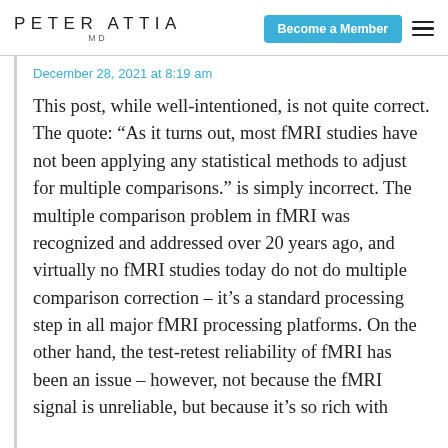PETER ATTIA MD | Become a Member
December 28, 2021 at 8:19 am
This post, while well-intentioned, is not quite correct. The quote: “As it turns out, most fMRI studies have not been applying any statistical methods to adjust for multiple comparisons.” is simply incorrect. The multiple comparison problem in fMRI was recognized and addressed over 20 years ago, and virtually no fMRI studies today do not do multiple comparison correction – it’s a standard processing step in all major fMRI processing platforms. On the other hand, the test-retest reliability of fMRI has been an issue – however, not because the fMRI signal is unreliable, but because it’s so rich with